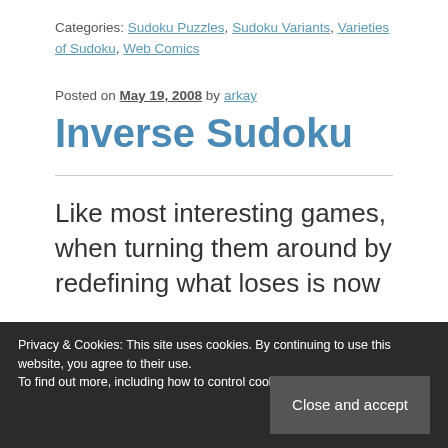Categories: Sudoku Puzzles, Sudoku Variants, Varieties of Sudoku, Web Comics
Posted on May 19, 2008 by arkay
Inverse Sudoku
Like most interesting games, when turning them around by redefining what loses is now
Privacy & Cookies: This site uses cookies. By continuing to use this website, you agree to their use. To find out more, including how to control cookies, see here: Cookie Policy
Close and accept